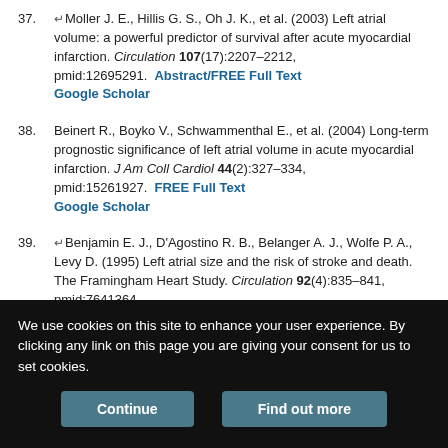37. ↵Moller J. E., Hillis G. S., Oh J. K., et al. (2003) Left atrial volume: a powerful predictor of survival after acute myocardial infarction. Circulation 107(17):2207–2212, pmid:12695291. Abstract/FREE Full Text Google Scholar
38. Beinert R., Boyko V., Schwammenthal E., et al. (2004) Long-term prognostic significance of left atrial volume in acute myocardial infarction. J Am Coll Cardiol 44(2):327–334, pmid:15261927. FREE Full Text Google Scholar
39. ↵Benjamin E. J., D'Agostino R. B., Belanger A. J., Wolfe P. A., Levy D. (1995) Left atrial size and the risk of stroke and death. The Framingham Heart Study. Circulation 92(4):835–841, pmid:7641364. Abstract/FREE Full Text Google Scholar
40. ↵Di Tullio M. R., Sacco R. L., Sciacca R. R., Homma S. (1999) Left atrial size and the risk of ischemic stroke in an ethnically mixed population.
We use cookies on this site to enhance your user experience. By clicking any link on this page you are giving your consent for us to set cookies.